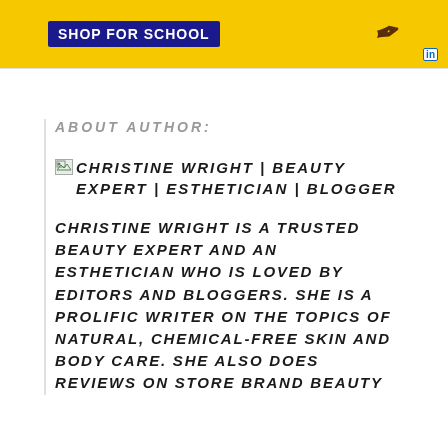[Figure (screenshot): Yellow banner advertisement with 'SHOP FOR SCHOOL' text in blue button, a stylized pen/quill icon, and LinkedIn 'in' badge in bottom right corner]
ABOUT AUTHOR:
CHRISTINE WRIGHT | BEAUTY EXPERT | ESTHETICIAN | BLOGGER
CHRISTINE WRIGHT IS A TRUSTED BEAUTY EXPERT AND AN ESTHETICIAN WHO IS LOVED BY EDITORS AND BLOGGERS. SHE IS A PROLIFIC WRITER ON THE TOPICS OF NATURAL, CHEMICAL-FREE SKIN AND BODY CARE. SHE ALSO DOES REVIEWS ON STORE BRAND BEAUTY